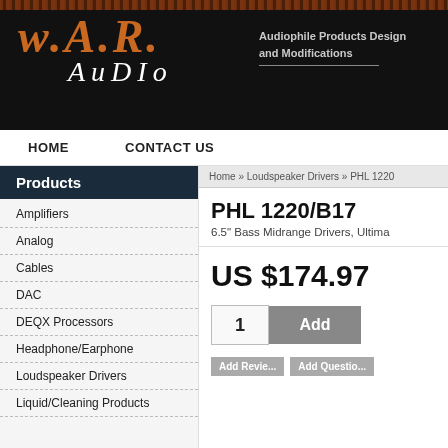[Figure (logo): W.A.R. Audio logo with dark background, orange W.A.R. text and white AUDIO text, with tagline Audiophile Products Design and Modifications]
HOME   CONTACT US
Products
Amplifiers
Analog
Cables
DAC
DEQX Processors
Headphone/Earphone
Loudspeaker Drivers
Liquid/Cleaning Products
Home » Loudspeaker Drivers » PHL 1220
PHL 1220/B17
6.5" Bass Midrange Drivers, Ultima
US $174.97
1   Add